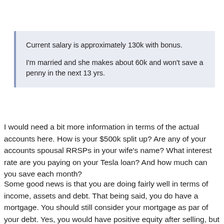Current salary is approximately 130k with bonus.

I'm married and she makes about 60k and won't save a penny in the next 13 yrs.
I would need a bit more information in terms of the actual accounts here. How is your $500k split up? Are any of your accounts spousal RRSPs in your wife's name? What interest rate are you paying on your Tesla loan? And how much can you save each month?
Some good news is that you are doing fairly well in terms of income, assets and debt. That being said, you do have a mortgage. You should still consider your mortgage as par of your debt. Yes, you would have positive equity after selling, but homes are not easily